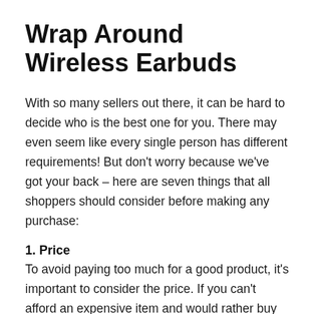Wrap Around Wireless Earbuds
With so many sellers out there, it can be hard to decide who is the best one for you. There may even seem like every single person has different requirements! But don't worry because we've got your back – here are seven things that all shoppers should consider before making any purchase:
1. Price
To avoid paying too much for a good product, it's important to consider the price. If you can't afford an expensive item and would rather buy something cheaper or wait until there is a promotion on sale